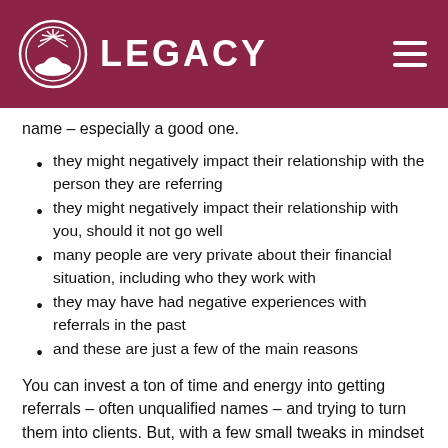LEGACY
name – especially a good one.
they might negatively impact their relationship with the person they are referring
they might negatively impact their relationship with you, should it not go well
many people are very private about their financial situation, including who they work with
they may have had negative experiences with referrals in the past
and these are just a few of the main reasons
You can invest a ton of time and energy into getting referrals – often unqualified names – and trying to turn them into clients. But, with a few small tweaks in mindset and process it's possible to create a dramatically different outcome